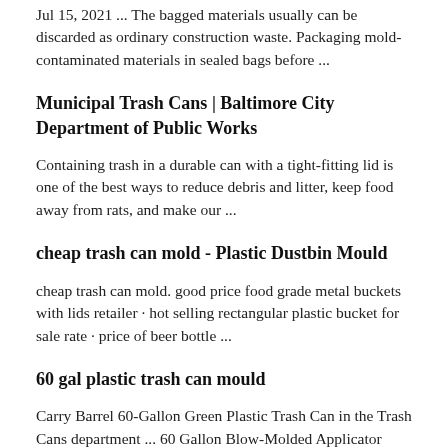Jul 15, 2021 ... The bagged materials usually can be discarded as ordinary construction waste. Packaging mold-contaminated materials in sealed bags before ...
Municipal Trash Cans | Baltimore City Department of Public Works
Containing trash in a durable can with a tight-fitting lid is one of the best ways to reduce debris and litter, keep food away from rats, and make our ...
cheap trash can mold - Plastic Dustbin Mould
cheap trash can mold. good price food grade metal buckets with lids retailer · hot selling rectangular plastic bucket for sale rate · price of beer bottle ...
60 gal plastic trash can mould
Carry Barrel 60-Gallon Green Plastic Trash Can in the Trash Cans department ... 60 Gallon Blow-Molded Applicator Tank - Yellow | Ace Roto-Mold